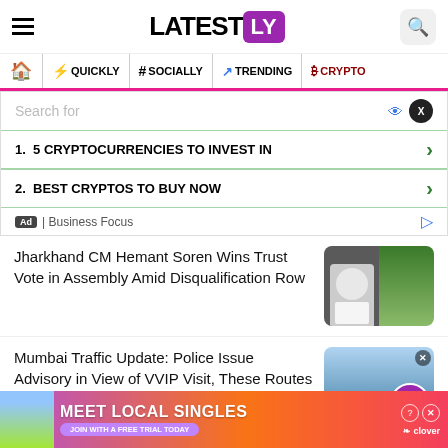LATESTLY
QUICKLY | # SOCIALLY | TRENDING | CRYPTO
[Figure (screenshot): Ad search box with two results: 1. 5 CRYPTOCURRENCIES TO INVEST IN, 2. BEST CRYPTOS TO BUY NOW, labeled Business Focus]
Jharkhand CM Hemant Soren Wins Trust Vote in Assembly Amid Disqualification Row
[Figure (photo): News thumbnail showing a person in white suit and another image with robotic/space scene]
Mumbai Traffic Update: Police Issue Advisory in View of VVIP Visit, These Routes Will Be...
[Figure (photo): News thumbnail showing traffic scene with Latestly logo badge]
[Figure (infographic): Bottom advertisement: MEET LOCAL SINGLES with Join with a free trial today, Clover app]